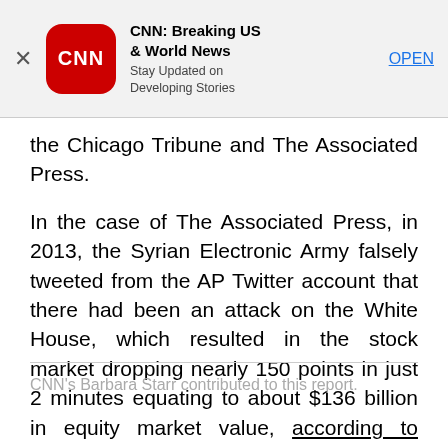[Figure (screenshot): CNN app advertisement banner with CNN logo, title 'CNN: Breaking US & World News', subtitle 'Stay Updated on Developing Stories', and an OPEN button]
the Chicago Tribune and The Associated Press.
In the case of The Associated Press, in 2013, the Syrian Electronic Army falsely tweeted from the AP Twitter account that there had been an attack on the White House, which resulted in the stock market dropping nearly 150 points in just 2 minutes equating to about $136 billion in equity market value, according to report by The Washington Post.
CNN's Barbara Starr contributed to this report.